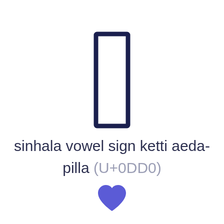[Figure (illustration): A tall narrow rectangle outline with dark navy border representing the Sinhala vowel sign ketti aeda-pilla character (U+0DD0)]
sinhala vowel sign ketti aeda-pilla (U+0DD0)
[Figure (illustration): A blue/indigo heart icon]